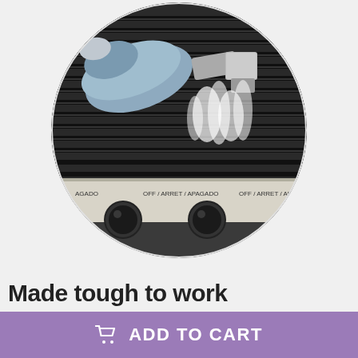[Figure (photo): A steam cleaning brush being used on a barbecue grill, shown in a circular crop. The image shows a blue/grey handled steam brush cleaning dark grill grates with steam visible. Below the grates, the grill's control panel is visible with knobs and labels reading 'OFF / ARRET / APAGADO'.]
Made tough to work
ADD TO CART